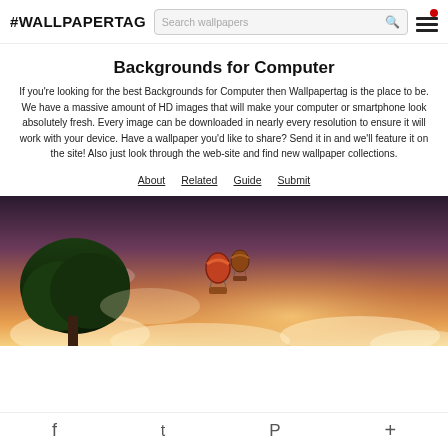#WALLPAPERTAG [search box: Search wallpapers] [menu icon]
Backgrounds for Computer
If you're looking for the best Backgrounds for Computer then Wallpapertag is the place to be. We have a massive amount of HD images that will make your computer or smartphone look absolutely fresh. Every image can be downloaded in nearly every resolution to ensure it will work with your device. Have a wallpaper you'd like to share? Send it in and we'll feature it on the site! Also just look through the web-site and find new wallpaper collections.
About
Related
Guide
Submit
[Figure (photo): A scenic landscape wallpaper showing a tree silhouette on the left, two hot air balloons floating in a warm sunset sky with golden and purple hues, and clouds below.]
Facebook  Twitter  Pinterest  Add